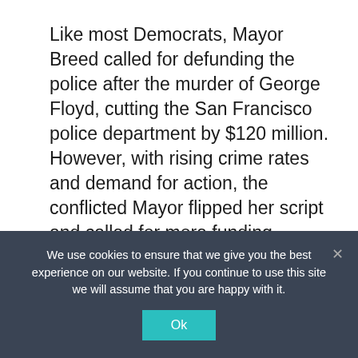Like most Democrats, Mayor Breed called for defunding the police after the murder of George Floyd, cutting the San Francisco police department by $120 million. However, with rising crime rates and demand for action, the conflicted Mayor flipped her script and called for more funding.
She even went so far as to say:
“It’s time the reign of criminals
We use cookies to ensure that we give you the best experience on our website. If you continue to use this site we will assume that you are happy with it.